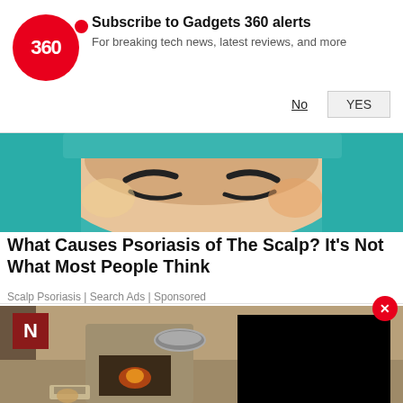[Figure (screenshot): Gadgets 360 subscription notification prompt with red circular logo, subscribe text, No and YES buttons]
[Figure (photo): Illustrated colorful art showing a face with closed eyes and teal headwear]
What Causes Psoriasis of The Scalp? It's Not What Most People Think
Scalp Psoriasis | Search Ads | Sponsored
[Figure (photo): Indoor scene showing a bare room with mud walls, a hearth, and scattered items on the floor, with a black video overlay box in the upper right and an N logo in the upper left]